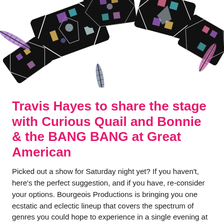[Figure (illustration): Decorative illustration of scattered black diamond/tile shapes with colorful geometric patterns and feathers on a white background.]
Travis Hayes to share the stage with Curious Quail and Bonnie & the BANG BANG at Great American
Picked out a show for Saturday night yet? If you haven't, here's the perfect suggestion, and if you have, reconsider your options. Bourgeois Productions is bringing you one ecstatic and eclectic lineup that covers the spectrum of genres you could hope to experience in a single evening at the Great American Music Hall. There's the heartfelt folk of Travis Hayes and the Young Daze; the